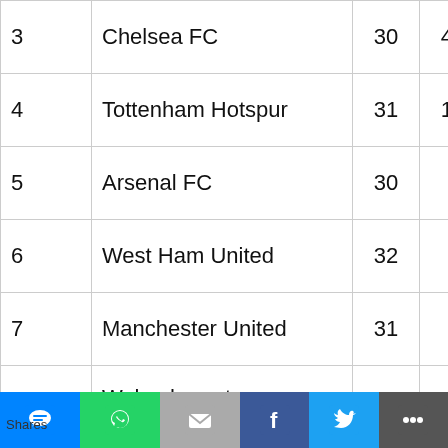| # | Team | GD | GF | Pts |
| --- | --- | --- | --- | --- |
| 3 | Chelsea FC | 30 | 41 | 62 |
| 4 | Tottenham Hotspur | 31 | 19 | 57 |
| 5 | Arsenal FC | 30 | 9 | 54 |
| 6 | West Ham United | 32 | 9 | 51 |
| 7 | Manchester United | 31 | 7 | 51 |
| 8 | Wolverhampton Wanderers | 32 | 5 | 49 |
| 9 | Leicester City | 29 | -3 | 40 |
| 10 | Crystal Palace | 31 | 3 | 37 |
| 11 | Brighton & Hove Albion | 31 | -9 | 37 |
| 12 | Aston Villa | 31 | 4 | 36 |